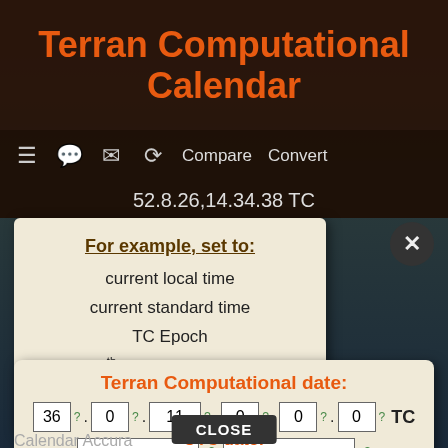Terran Computational Calendar
52.8.26,14.34.38 TC
For example, set to:
current local time
current standard time
TC Epoch
25th UTC leap second
25th TC leap second
Terran Computational date: 36 . 0 . 11 , 0 . 0 . 0 TC [year base] [datemod]
UTC date:
Calendar Accura
CLOSE